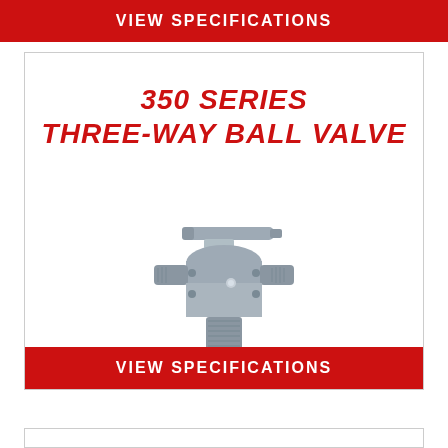VIEW SPECIFICATIONS
350 SERIES THREE-WAY BALL VALVE
[Figure (photo): Grey three-way ball valve with lever handle, threaded male bottom outlet and threaded side connections, industrial valve product photo]
VIEW SPECIFICATIONS